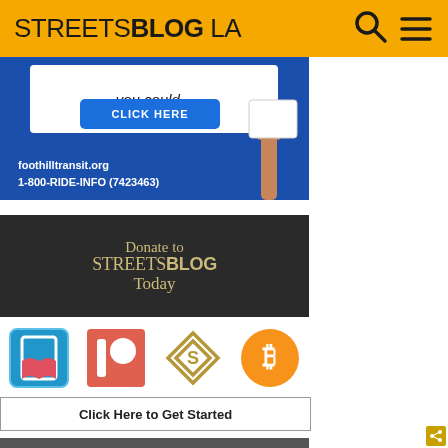STREETSBLOG LA
[Figure (illustration): Foothill Transit advertisement banner showing a hand holding a sign with CLICK HERE button, website foothilltransit.org and phone 1-800-RIDE-INFO (7423463) on dark blue background]
[Figure (illustration): Dark banner reading 'Donate to STREETSBLOG Today' with golden serif text]
[Figure (illustration): Row of four payment/donation method icons: a blue heart/bookmark icon, Patreon icon (red/salmon), a gold diamond logo, and Bitcoin (orange) icon]
Click Here to Get Started